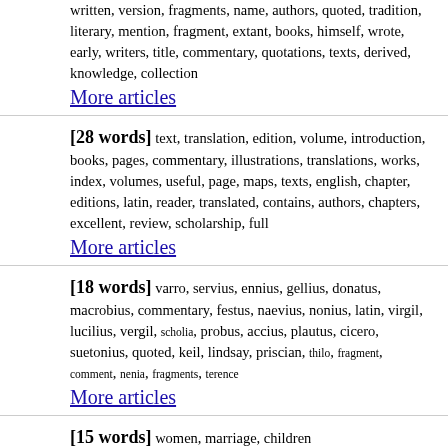written, version, fragments, name, authors, quoted, tradition, literary, mention, fragment, extant, books, himself, wrote, early, writers, title, commentary, quotations, texts, derived, knowledge, collection
More articles
[28 words] text, translation, edition, volume, introduction, books, pages, commentary, illustrations, translations, works, index, volumes, useful, page, maps, texts, english, chapter, editions, latin, reader, translated, contains, authors, chapters, excellent, review, scholarship, full
More articles
[18 words] varro, servius, ennius, gellius, donatus, macrobius, commentary, festus, naevius, nonius, latin, virgil, lucilius, vergil, scholia, probus, accius, plautus, cicero, suetonius, quoted, keil, lindsay, priscian, thilo, fragment, comment, nenia, fragments, terence
More articles
[15 words] women, marriage, children